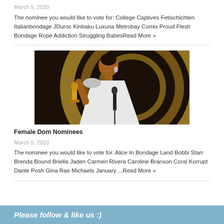March 5, 2020
The nominee you would like to vote for: College Captives Fetischichten Italianbondage JDuroc Kinbaku Luxuria Metrobay Comix Proud Flesh Bondage Rope Addiction Struggling BabesRead More »
[Figure (photo): A woman in a white dress holding an Oscar award statue, standing at a podium with a microphone, circular gold background]
Female Dom Nominees
March 5, 2020
The nominee you would like to vote for. Alice In Bondage Land Bobbi Starr Brenda Bound Briella Jaden Carmen Rivera Caroline Branson Coral Korrupt Dante Posh Gina Rae Michaels January ...Read More »
Please follow & like us :)